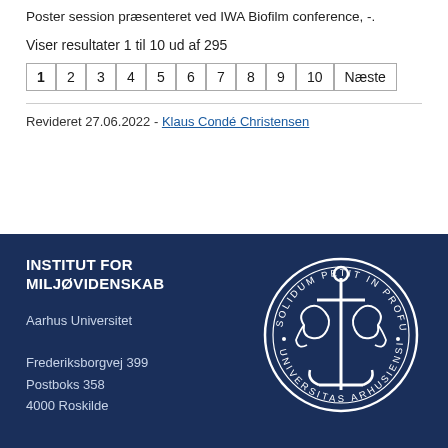Poster session præsenteret ved IWA Biofilm conference, -.
Viser resultater 1 til 10 ud af 295
1 2 3 4 5 6 7 8 9 10 Næste
Revideret 27.06.2022 - Klaus Condé Christensen
INSTITUT FOR MILJØVIDENSKAB
Aarhus Universitet
Frederiksborgvej 399
Postboks 358
4000 Roskilde